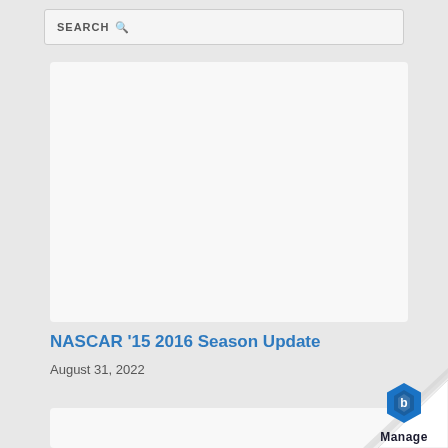SEARCH
[Figure (other): Light gray placeholder card image area]
NASCAR ’15 2016 Season Update
August 31, 2022
[Figure (other): Light gray placeholder card image area at bottom]
[Figure (logo): Manage logo with page curl effect in bottom right corner]